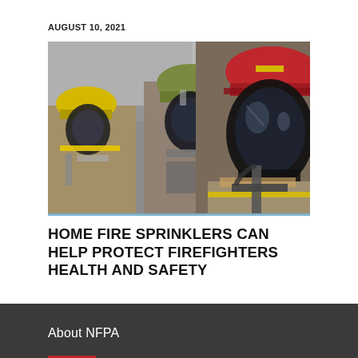AUGUST 10, 2021
[Figure (photo): Three firefighters in full gear including breathing masks and helmets (red, yellow/green) photographed in close-up. The foreground firefighter wears a red helmet and full face breathing apparatus. Two additional firefighters are visible behind.]
HOME FIRE SPRINKLERS CAN HELP PROTECT FIREFIGHTERS HEALTH AND SAFETY
About NFPA